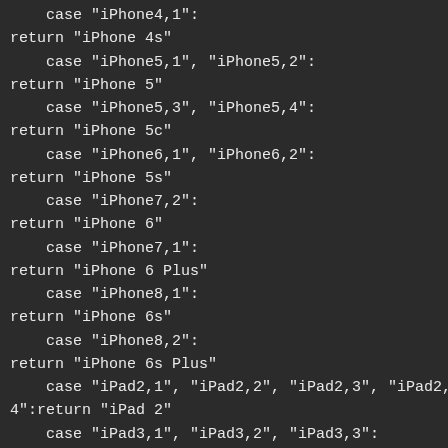case "iPhone4,1":
return "iPhone 4s"
    case "iPhone5,1", "iPhone5,2":
return "iPhone 5"
    case "iPhone5,3", "iPhone5,4":
return "iPhone 5c"
    case "iPhone6,1", "iPhone6,2":
return "iPhone 5s"
    case "iPhone7,2":
return "iPhone 6"
    case "iPhone7,1":
return "iPhone 6 Plus"
    case "iPhone8,1":
return "iPhone 6s"
    case "iPhone8,2":
return "iPhone 6s Plus"
    case "iPad2,1", "iPad2,2", "iPad2,3", "iPad2,4":return "iPad 2"
    case "iPad3,1", "iPad3,2", "iPad3,3":
return "iPad 3"
    case "iPad3,4", "iPad3,5", "iPad3,6":
return "iPad 4"